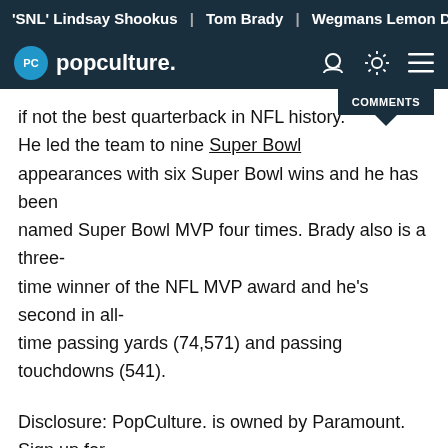'SNL' Lindsay Shookus | Tom Brady | Wegmans Lemon Dill F
popculture.
if not the best quarterback in NFL history. He led the team to nine Super Bowl appearances with six Super Bowl wins and he has been named Super Bowl MVP four times. Brady also is a three-time winner of the NFL MVP award and he's second in all-time passing yards (74,571) and passing touchdowns (541).
Disclosure: PopCulture. is owned by Paramount. Sign up for Paramount+ by clicking here.